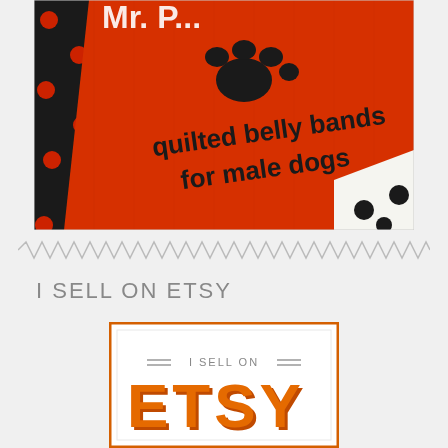[Figure (photo): Close-up photo of a red quilted fabric label/product with black paw print and text 'quilted belly bands for male dogs', with black and white polka dot fabric alongside]
[Figure (other): Zigzag decorative divider line in gray]
I SELL ON ETSY
[Figure (other): Etsy seller badge with orange border, text '= I SELL ON =' and 'ETSY' in large orange letters with 3D effect]